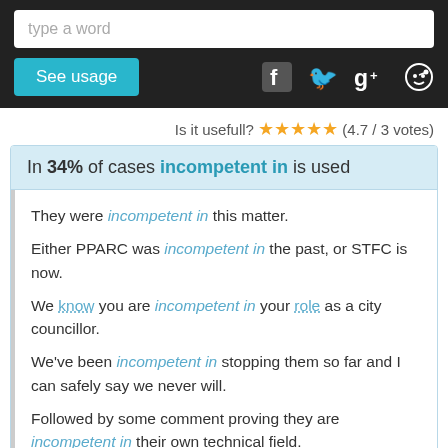type a word
See usage
Is it usefull? ★★★★★ (4.7 / 3 votes)
In 34% of cases incompetent in is used
They were incompetent in this matter.
Either PPARC was incompetent in the past, or STFC is now.
We know you are incompetent in your role as a city councillor.
We've been incompetent in stopping them so far and I can safely say we never will.
Followed by some comment proving they are incompetent in their own technical field.